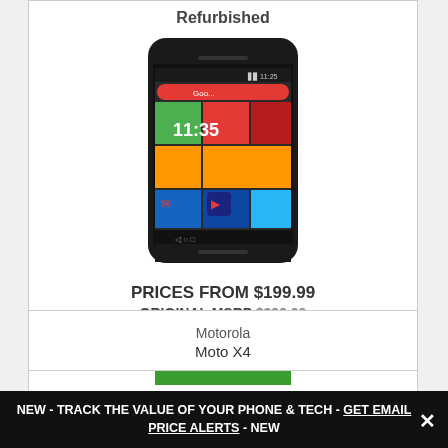Refurbished
[Figure (photo): Motorola Moto X2 smartphone with colorful mosaic/Moto Maker back panel showing Android home screen with time 11:35]
PRICES FROM $199.99
ORIGINAL MSRP $399.00
VIEW DEALS >>
Motorola
Moto X4
NEW - TRACK THE VALUE OF YOUR PHONE & TECH - GET EMAIL PRICE ALERTS - NEW